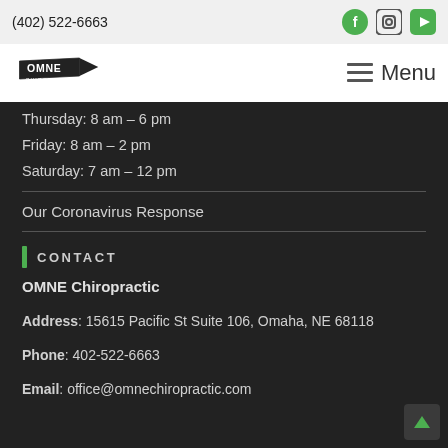(402) 522-6663
Menu
Thursday: 8 am – 6 pm
Friday: 8 am – 2 pm
Saturday: 7 am – 12 pm
Our Coronavirus Response
CONTACT
OMNE Chiropractic
Address: 15615 Pacific St Suite 106, Omaha, NE 68118
Phone: 402-522-6663
Email: office@omnechiropractic.com